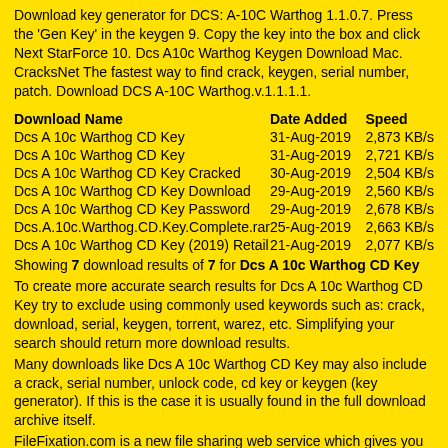Download key generator for DCS: A-10C Warthog 1.1.0.7. Press the 'Gen Key' in the keygen 9. Copy the key into the box and click Next StarForce 10. Dcs A10c Warthog Keygen Download Mac. CracksNet The fastest way to find crack, keygen, serial number, patch. Download DCS A-10C Warthog.v.1.1.1.1.
| Download Name | Date Added | Speed |
| --- | --- | --- |
| Dcs A 10c Warthog CD Key | 31-Aug-2019 | 2,873 KB/s |
| Dcs A 10c Warthog CD Key | 31-Aug-2019 | 2,721 KB/s |
| Dcs A 10c Warthog CD Key Cracked | 30-Aug-2019 | 2,504 KB/s |
| Dcs A 10c Warthog CD Key Download | 29-Aug-2019 | 2,560 KB/s |
| Dcs A 10c Warthog CD Key Password | 29-Aug-2019 | 2,678 KB/s |
| Dcs.A.10c.Warthog.CD.Key.Complete.rar | 25-Aug-2019 | 2,663 KB/s |
| Dcs A 10c Warthog CD Key (2019) Retail | 21-Aug-2019 | 2,077 KB/s |
Showing 7 download results of 7 for Dcs A 10c Warthog CD Key
To create more accurate search results for Dcs A 10c Warthog CD Key try to exclude using commonly used keywords such as: crack, download, serial, keygen, torrent, warez, etc. Simplifying your search should return more download results.
Many downloads like Dcs A 10c Warthog CD Key may also include a crack, serial number, unlock code, cd key or keygen (key generator). If this is the case it is usually found in the full download archive itself.
FileFixation.com is a new file sharing web service which gives you access to literally hundreds of thousands of direct downloads including software, games, movies, tv shows, mp3 albums, ebooks and more! Our downloads database is